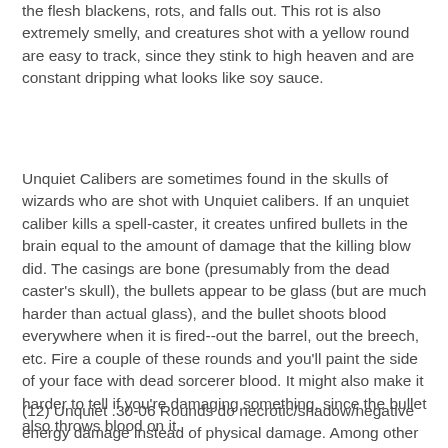the flesh blackens, rots, and falls out.  This rot is also extremely smelly, and creatures shot with a yellow round are easy to track, since they stink to high heaven and are constant dripping what looks like soy sauce.
Unquiet Calibers are sometimes found in the skulls of wizards who are shot with Unquiet calibers.  If an unquiet caliber kills a spell-caster, it creates unfired bullets in the brain equal to the amount of damage that the killing blow did.  The casings are bone (presumably from the dead caster's skull), the bullets appear to be glass (but are much harder than actual glass), and the bullet shoots blood everywhere when it is fired--out the barrel, out the breech, etc.  Fire a couple of these rounds and you'll paint the side of your face with dead sorcerer blood.  It might also make it harder to tell if you're damaging something, since the bullet also throws blood on it.
(12) Unquiet .30-06 Rounds do necrotic/shadow/negative energy damage instead of physical damage. Among other